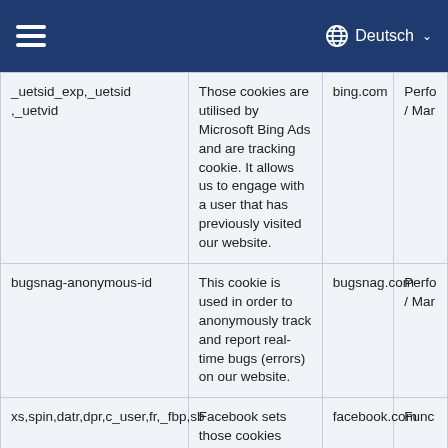Deutsch
| Cookie Name | Description | Domain | Type |
| --- | --- | --- | --- |
| _uetsid_exp,_uetsid ,_uetvid | Those cookies are utilised by Microsoft Bing Ads and are tracking cookie. It allows us to engage with a user that has previously visited our website. | bing.com | Perfo / Mar |
| bugsnag-anonymous-id | This cookie is used in order to anonymously track and report real-time bugs (errors) on our website. | bugsnag.com | Perfo / Mar |
| xs,spin,datr,dpr,c_user,fr,_fbp,sb | Facebook sets those cookies when a user is | facebook.com | Func |